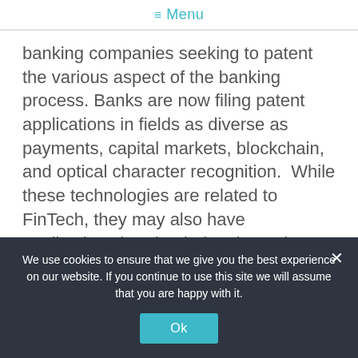≡ Menu
banking companies seeking to patent the various aspect of the banking process. Banks are now filing patent applications in fields as diverse as payments, capital markets, blockchain, and optical character recognition. While these technologies are related to FinTech, they may also have applications in other industries. There is no question that banks are embracing patents to stay competitive, and even relevant, in the FinTech space.
We use cookies to ensure that we give you the best experience on our website. If you continue to use this site we will assume that you are happy with it.